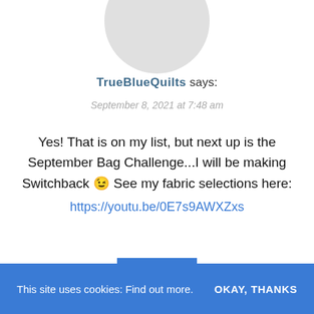[Figure (illustration): Circular avatar image, partially cropped at the top of the page, showing a gray silhouette/placeholder user image]
TrueBlueQuilts says:
September 8, 2021 at 7:48 am
Yes! That is on my list, but next up is the September Bag Challenge...I will be making Switchback 😉 See my fabric selections here:
https://youtu.be/0E7s9AWXZxs
REPLY
This site uses cookies: Find out more.  OKAY, THANKS